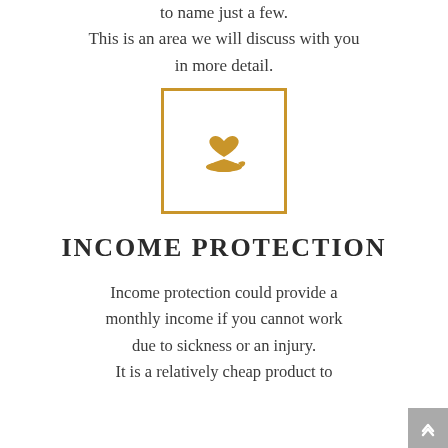to name just a few.
This is an area we will discuss with you in more detail.
[Figure (illustration): A gold/amber outlined square box containing a hand holding a heart icon, in gold/amber color — representing care or income protection.]
INCOME PROTECTION
Income protection could provide a monthly income if you cannot work due to sickness or an injury. It is a relatively cheap product to